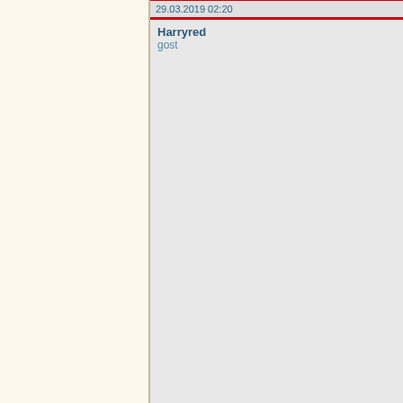29.03.2019 02:20
Harryred
gost
31.03.2019 03:43
SonjaboynC
gost
02.04.2019 01:20